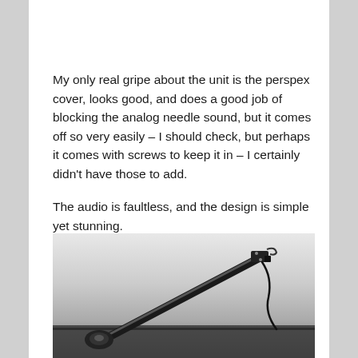My only real gripe about the unit is the perspex cover, looks good, and does a good job of blocking the analog needle sound, but it comes off so very easily – I should check, but perhaps it comes with screws to keep it in – I certainly didn't have those to add.

The audio is faultless, and the design is simple yet stunning.
[Figure (photo): Black and white close-up photograph of a turntable tonearm with cartridge, shot from a low angle showing the arm extending diagonally across the frame against a light background.]